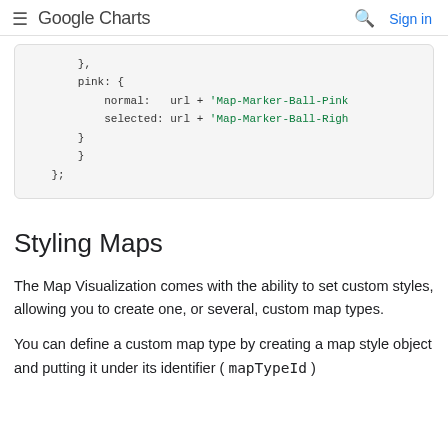≡ Google Charts  🔍  Sign in
[Figure (screenshot): Code block showing JavaScript object with pink property containing normal and selected URL keys, ending with closing braces and semicolon]
Styling Maps
The Map Visualization comes with the ability to set custom styles, allowing you to create one, or several, custom map types.
You can define a custom map type by creating a map style object and putting it under its identifier ( mapTypeId )